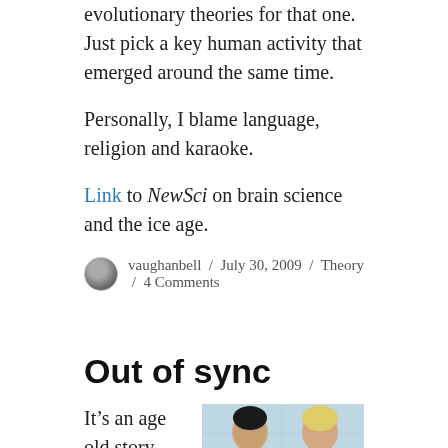evolutionary theories for that one. Just pick a key human activity that emerged around the same time.
Personally, I blame language, religion and karaoke.
Link to NewSci on brain science and the ice age.
vaughanbell / July 30, 2009 / Theory / 4 Comments
Out of sync
It’s an age old story. Boy meets girl. Boy loses girl. The trauma of the breakup